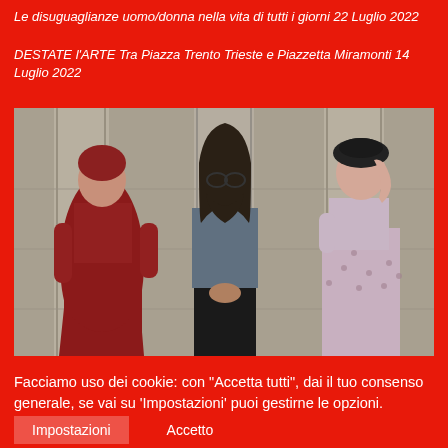Le disuguaglianze uomo/donna nella vita di tutti i giorni 22 Luglio 2022
DESTATE l'ARTE Tra Piazza Trento Trieste e Piazzetta Miramonti 14 Luglio 2022
[Figure (photo): Three people standing outdoors in front of stone columns: a woman in a long red dress on the left, a bearded man with long hair and glasses in a grey vest in the center, and a woman in a floral dress with a black beret on the right]
Facciamo uso dei cookie: con "Accetta tutti", dai il tuo consenso generale, se vai su 'Impostazioni' puoi gestirne le opzioni.
Impostazioni
Accetto